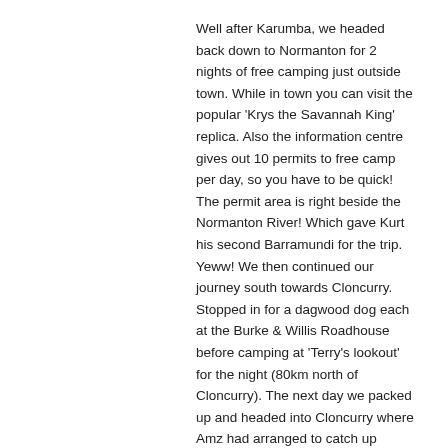Well after Karumba, we headed back down to Normanton for 2 nights of free camping just outside town. While in town you can visit the popular 'Krys the Savannah King' replica. Also the information centre gives out 10 permits to free camp per day, so you have to be quick! The permit area is right beside the Normanton River! Which gave Kurt his second Barramundi for the trip. Yeww! We then continued our journey south towards Cloncurry. Stopped in for a dagwood dog each at the Burke & Willis Roadhouse before camping at 'Terry's lookout' for the night (80km north of Cloncurry). The next day we packed up and headed into Cloncurry where Amz had arranged to catch up